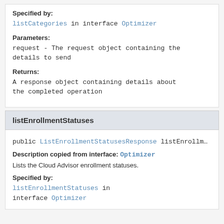Specified by:
listCategories in interface Optimizer
Parameters:
request - The request object containing the details to send
Returns:
A response object containing details about the completed operation
listEnrollmentStatuses
public ListEnrollmentStatusesResponse listEnrollm...
Description copied from interface: Optimizer
Lists the Cloud Advisor enrollment statuses.
Specified by:
listEnrollmentStatuses in interface Optimizer